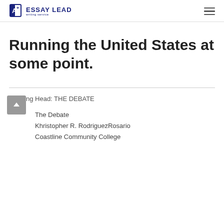ESSAY LEAD writing service
Running the United States at some point.
Running Head: THE DEBATE
The Debate
Khristopher R. RodriguezRosario
Coastline Community College